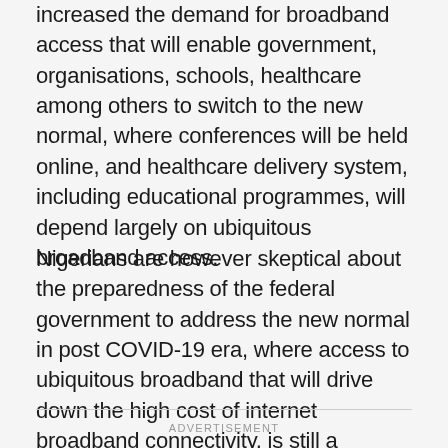increased the demand for broadband access that will enable government, organisations, schools, healthcare among others to switch to the new normal, where conferences will be held online, and healthcare delivery system, including educational programmes, will depend largely on ubiquitous broadband access.
Nigerians are however skeptical about the preparedness of the federal government to address the new normal in post COVID-19 era, where access to ubiquitous broadband that will drive down the high cost of internet broadband connectivity, is still a mirage.
ADVERTISEMENT